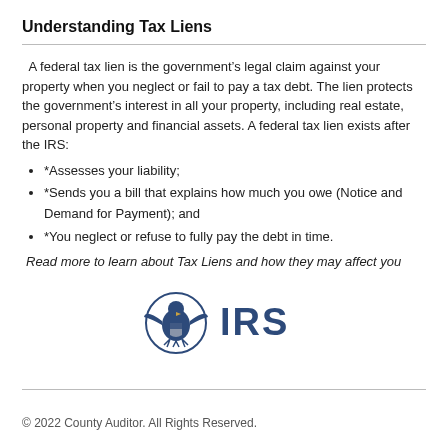Understanding Tax Liens
A federal tax lien is the government’s legal claim against your property when you neglect or fail to pay a tax debt. The lien protects the government’s interest in all your property, including real estate, personal property and financial assets. A federal tax lien exists after the IRS:
*Assesses your liability;
*Sends you a bill that explains how much you owe (Notice and Demand for Payment); and
*You neglect or refuse to fully pay the debt in time.
Read more to learn about Tax Liens and how they may affect you
[Figure (logo): IRS logo with eagle emblem and text IRS in dark blue]
© 2022 County Auditor. All Rights Reserved.